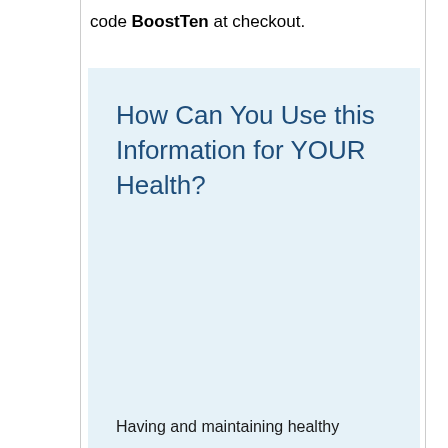code BoostTen at checkout.
How Can You Use this Information for YOUR Health?
Having and maintaining healthy